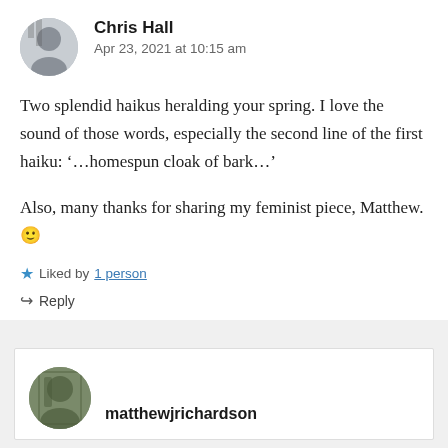Chris Hall
Apr 23, 2021 at 10:15 am
Two splendid haikus heralding your spring. I love the sound of those words, especially the second line of the first haiku: ‘…homespun cloak of bark…’
Also, many thanks for sharing my feminist piece, Matthew. 🙂
Liked by 1 person
Reply
matthewjrichardson